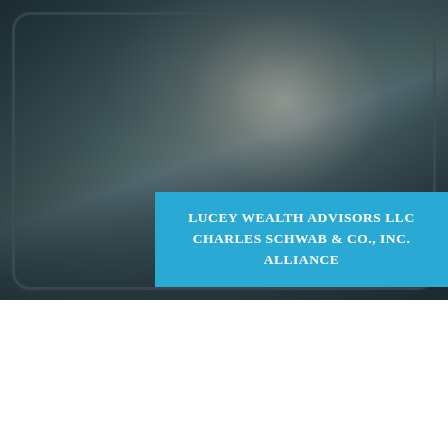[Figure (photo): Dark-toned photo of a tablet device displaying a financial advisor website. A blue banner in the center of the tablet screen reads 'LUCEY WEALTH ADVISORS LLC / CHARLES SCHWAB & CO., INC. ALLIANCE' in white uppercase serif text.]
Medicare Supplement Plans in Tenderloin, CA